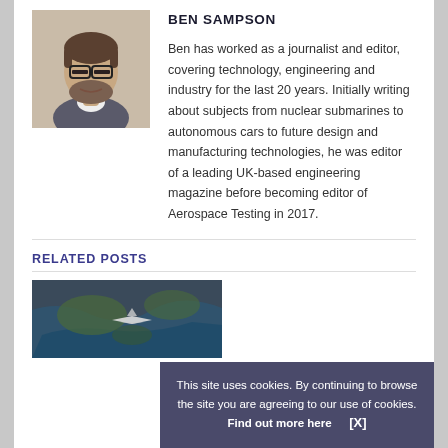[Figure (photo): Headshot of Ben Sampson, a man with glasses and a beard]
BEN SAMPSON
Ben has worked as a journalist and editor, covering technology, engineering and industry for the last 20 years. Initially writing about subjects from nuclear submarines to autonomous cars to future design and manufacturing technologies, he was editor of a leading UK-based engineering magazine before becoming editor of Aerospace Testing in 2017.
RELATED POSTS
[Figure (photo): Thumbnail image related to a post, showing a map with aircraft]
This site uses cookies. By continuing to browse the site you are agreeing to our use of cookies. Find out more here   [X]